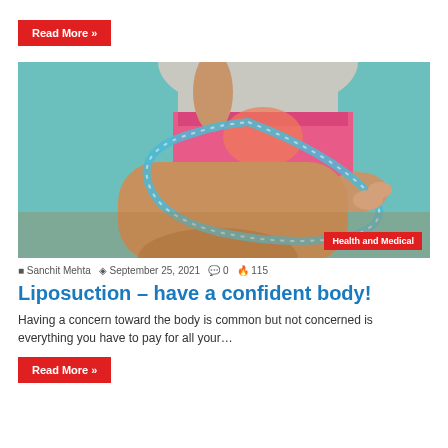Read More »
[Figure (photo): Person in pink shorts measuring thigh with a blue measuring tape against a teal background, with a red 'Health and Medical' badge in the bottom right corner]
Sanchit Mehta  September 25, 2021  0  115
Liposuction – have a confident body!
Having a concern toward the body is common but not concerned is everything you have to pay for all your…
Read More »